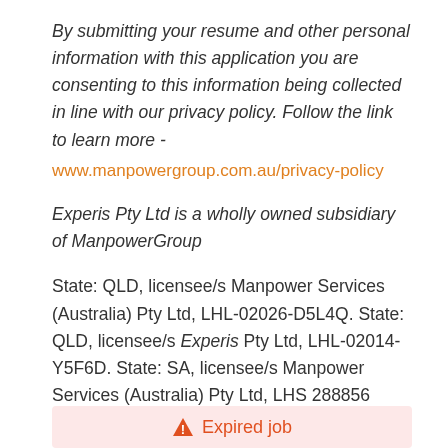By submitting your resume and other personal information with this application you are consenting to this information being collected in line with our privacy policy. Follow the link to learn more - www.manpowergroup.com.au/privacy-policy
Experis Pty Ltd is a wholly owned subsidiary of ManpowerGroup
State: QLD, licensee/s Manpower Services (Australia) Pty Ltd, LHL-02026-D5L4Q. State: QLD, licensee/s Experis Pty Ltd, LHL-02014-Y5F6D. State: SA, licensee/s Manpower Services (Australia) Pty Ltd, LHS 288856
Expired job